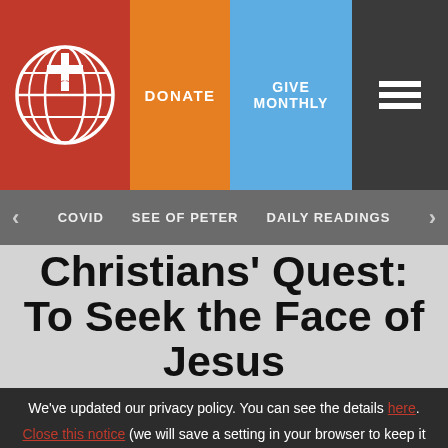[Figure (logo): Globe with cross logo on red background]
DONATE | GIVE MONTHLY | Menu
< COVID   SEE OF PETER   DAILY READINGS >
Christians' Quest: To Seek the Face of Jesus
We've updated our privacy policy. You can see the details here.
Close this notice (we will save a setting in your browser to keep it from showing again).